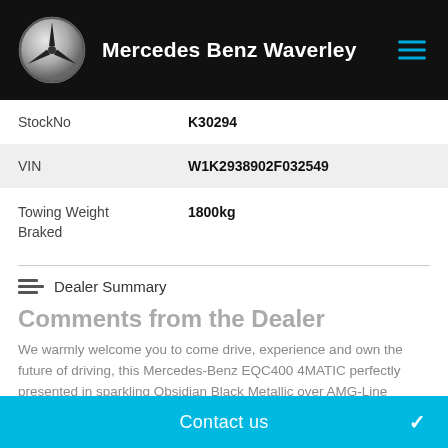[Figure (logo): Mercedes-Benz three-pointed star logo in silver on black background]
Mercedes Benz Waverley
| StockNo | K30294 |
| VIN | W1K2938902F032549 |
| Towing Weight Braked | 1800kg |
Dealer Summary
Comments from the Dealer
We warmly welcome you to come drive, experience and own the future of driving, this Mercedes-Benz EQC400 4MATIC perfectly presented in sparkling Obsidian Black Metallic over AMG-Line Interior in Black AMG Leather.
Contact us